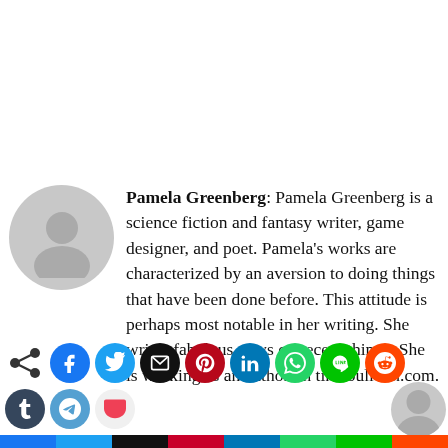Pamela Greenberg: Pamela Greenberg is a science fiction and fantasy writer, game designer, and poet. Pamela's works are characterized by an aversion to doing things that have been done before. This attitude is perhaps most notable in her writing. She writes fabulous news on recent things. She is working as an author on timebulletin.com.
[Figure (infographic): Social sharing buttons: circular icons for share, Facebook, Twitter, Email, Pinterest, LinkedIn, WhatsApp, Line, Reddit; and square bar buttons for Facebook, Twitter, Email, Pinterest, LinkedIn, WhatsApp, Line, Reddit; plus Tumblr, Telegram, Pocket in second row.]